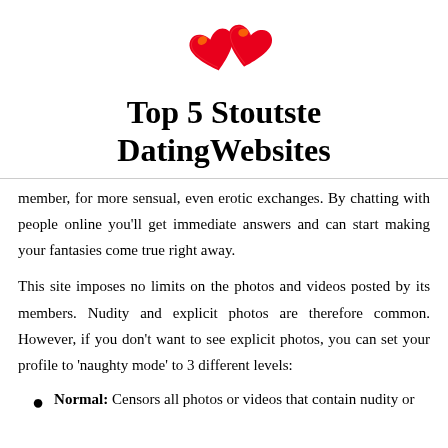[Figure (logo): Two red/orange heart emoji icons side by side above the site title]
Top 5 Stoutste DatingWebsites
member, for more sensual, even erotic exchanges. By chatting with people online you'll get immediate answers and can start making your fantasies come true right away.
This site imposes no limits on the photos and videos posted by its members. Nudity and explicit photos are therefore common. However, if you don't want to see explicit photos, you can set your profile to 'naughty mode' to 3 different levels:
Normal: Censors all photos or videos that contain nudity or